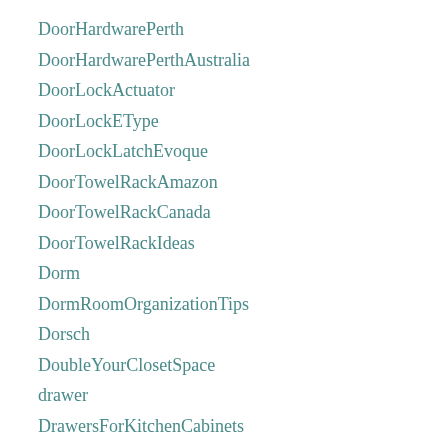DoorHardwarePerth
DoorHardwarePerthAustralia
DoorLockActuator
DoorLockEType
DoorLockLatchEvoque
DoorTowelRackAmazon
DoorTowelRackCanada
DoorTowelRackIdeas
Dorm
DormRoomOrganizationTips
Dorsch
DoubleYourClosetSpace
drawer
DrawersForKitchenCabinets